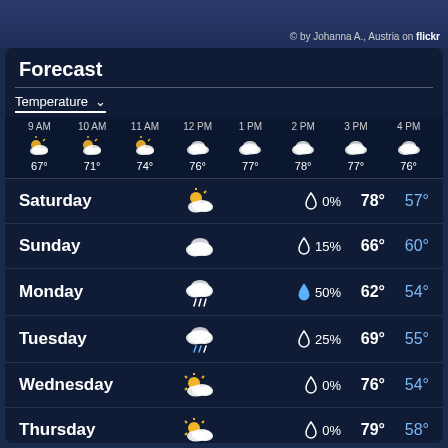© by Johanna A., Austria on flickr
Forecast
Temperature ∨
| Time | Icon | Temp |
| --- | --- | --- |
| 9 AM | partly-sunny | 67° |
| 10 AM | partly-sunny | 71° |
| 11 AM | partly-sunny | 74° |
| 12 PM | cloudy | 76° |
| 1 PM | cloudy | 77° |
| 2 PM | cloudy | 78° |
| 3 PM | cloudy | 77° |
| 4 PM | cloudy | 76° |
| Day | Icon | Precip% | High | Low |
| --- | --- | --- | --- | --- |
| Saturday | partly-sunny | 0% | 78° | 57° |
| Sunday | cloudy | 15% | 66° | 60° |
| Monday | rain | 50% | 62° | 54° |
| Tuesday | rain | 25% | 69° | 55° |
| Wednesday | partly-sunny | 0% | 76° | 54° |
| Thursday | partly-sunny | 0% | 79° | 58° |
| Friday | partly-sunny | 0% | 80° | 62° |